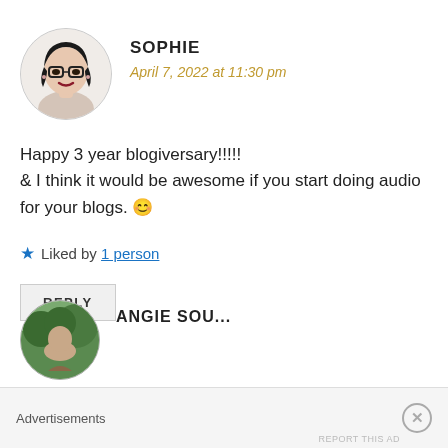[Figure (illustration): Circular avatar illustration of a woman with black hair, glasses, and dark lipstick.]
SOPHIE
April 7, 2022 at 11:30 pm
Happy 3 year blogiversary!!!!!
& I think it would be awesome if you start doing audio for your blogs. 😊
★ Liked by 1 person
REPLY
[Figure (photo): Circular avatar photo of a person outdoors with trees in background — partially visible.]
ANGIE SOU...
Advertisements